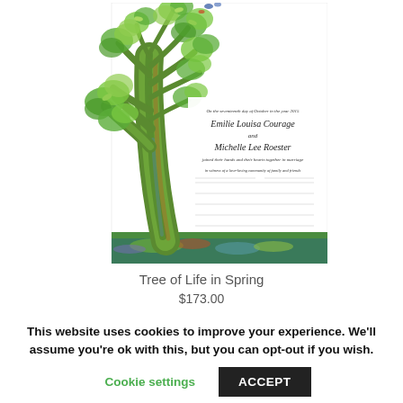[Figure (illustration): A wedding certificate / Quaker-style marriage document featuring a colorful painted tree of life in spring with green foliage and colorful abstract trunk, with calligraphic text reading names 'Emilie Louisa Courage and Michelle Lee Roester' and signature lines below.]
Tree of Life in Spring
$173.00
This website uses cookies to improve your experience. We'll assume you're ok with this, but you can opt-out if you wish.
Cookie settings
ACCEPT